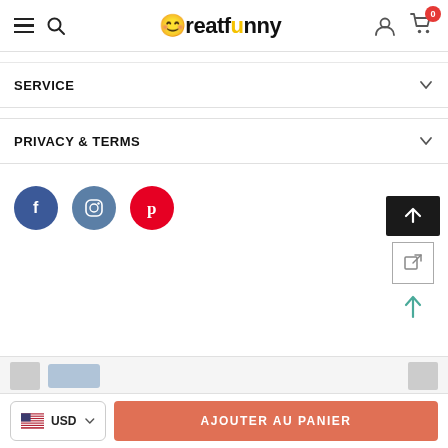Creatfunny — navigation header with hamburger menu, search, logo, user icon, cart (0)
SERVICE
PRIVACY & TERMS
[Figure (illustration): Social media icons: Facebook (blue circle), Instagram (steel blue circle), Pinterest (red circle)]
[Figure (illustration): Back to top controls: black up-arrow button, outlined box icon, teal up arrow]
[Figure (screenshot): Partially visible product thumbnail row at bottom of page]
AJOUTER AU PANIER
USD currency selector with US flag and add to cart button: AJOUTER AU PANIER